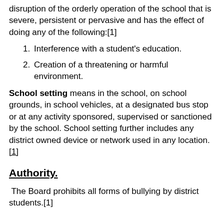disruption of the orderly operation of the school that is severe, persistent or pervasive and has the effect of doing any of the following:[1]
1. Interference with a student's education.
2. Creation of a threatening or harmful environment.
School setting means in the school, on school grounds, in school vehicles, at a designated bus stop or at any activity sponsored, supervised or sanctioned by the school. School setting further includes any district owned device or network used in any location.[1]
Authority
The Board prohibits all forms of bullying by district students.[1]